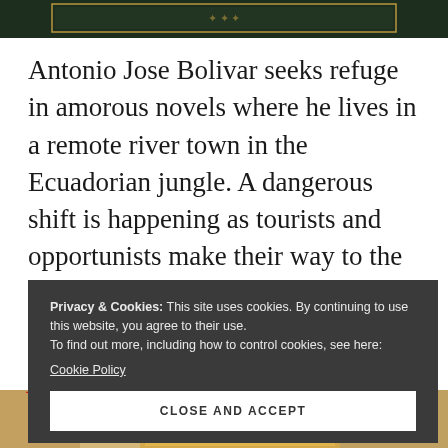[Figure (photo): Top portion of a book cover with dark green background and gold border detail]
Antonio Jose Bolivar seeks refuge in amorous novels where he lives in a remote river town in the Ecuadorian jungle. A dangerous shift is happening as tourists and opportunists make their way to the area.
Privacy & Cookies: This site uses cookies. By continuing to use this website, you agree to their use.
To find out more, including how to control cookies, see here:
Cookie Policy
CLOSE AND ACCEPT
[Figure (photo): Bottom portion of a book cover image showing warm tones]